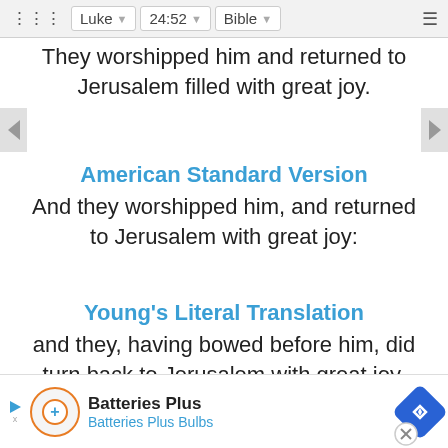Luke  24:52  Bible
They worshipped him and returned to Jerusalem filled with great joy.
American Standard Version
And they worshipped him, and returned to Jerusalem with great joy:
Young's Literal Translation
and they, having bowed before him, did turn back to Jerusalem with great joy,
Links
Luke 24:52 • Luke 24:52 NIV •
Batteries Plus
Batteries Plus Bulbs